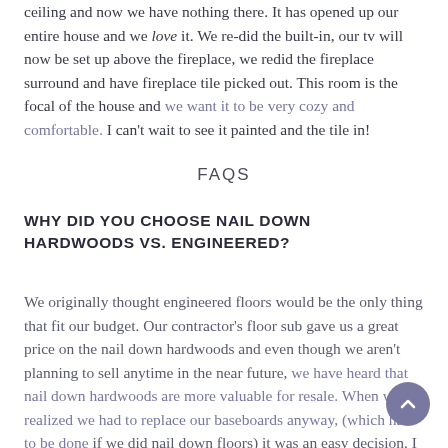ceiling and now we have nothing there. It has opened up our entire house and we love it. We re-did the built-in, our tv will now be set up above the fireplace, we redid the fireplace surround and have fireplace tile picked out. This room is the focal of the house and we want it to be very cozy and comfortable. I can't wait to see it painted and the tile in!
FAQS
WHY DID YOU CHOOSE NAIL DOWN HARDWOODS VS. ENGINEERED?
We originally thought engineered floors would be the only thing that fit our budget. Our contractor's floor sub gave us a great price on the nail down hardwoods and even though we aren't planning to sell anytime in the near future, we have heard that nail down hardwoods are more valuable for resale. When we realized we had to replace our baseboards anyway, (which had to be done if we did nail down floors) it was an easy decision. I am so happy